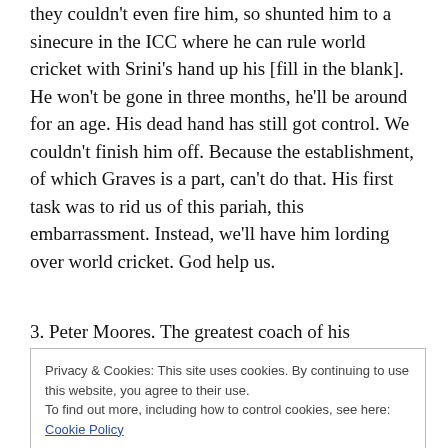they couldn't even fire him, so shunted him to a sinecure in the ICC where he can rule world cricket with Srini's hand up his [fill in the blank]. He won't be gone in three months, he'll be around for an age. His dead hand has still got control. We couldn't finish him off. Because the establishment, of which Graves is a part, can't do that. His first task was to rid us of this pariah, this embarrassment. Instead, we'll have him lording over world cricket. God help us.
3. Peter Moores. The greatest coach of his generation put
Privacy & Cookies: This site uses cookies. By continuing to use this website, you agree to their use.
To find out more, including how to control cookies, see here: Cookie Policy
Close and accept